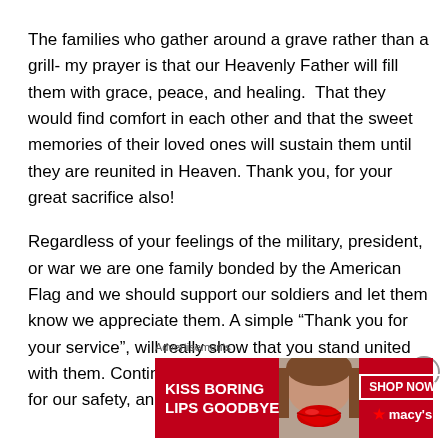The families who gather around a grave rather than a grill- my prayer is that our Heavenly Father will fill them with grace, peace, and healing.  That they would find comfort in each other and that the sweet memories of their loved ones will sustain them until they are reunited in Heaven. Thank you, for your great sacrifice also!
Regardless of your feelings of the military, president, or war we are one family bonded by the American Flag and we should support our soldiers and let them know we appreciate them. A simple “Thank you for your service”, will really show that you stand united with them. Continue to pray for them, for their safety, for our safety, and for their famili...
Advertisements
[Figure (illustration): Advertisement banner for Macy's lipstick promotion. Red background with a woman's face showing bold red lips. Text reads 'KISS BORING LIPS GOODBYE' with a 'SHOP NOW' button and Macy's star logo.]